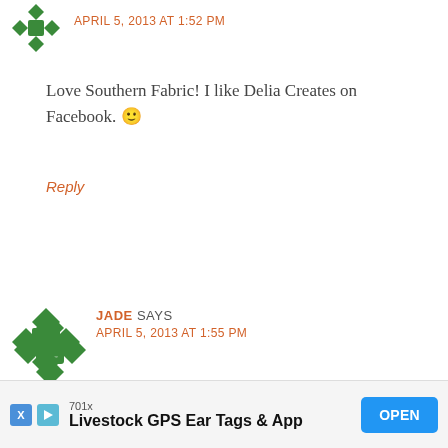APRIL 5, 2013 AT 1:52 PM
Love Southern Fabric! I like Delia Creates on Facebook. 🙂
Reply
JADE SAYS
APRIL 5, 2013 AT 1:55 PM
This comment has been removed by the author.
Reply
[Figure (screenshot): Advertisement bar at bottom: 701x Livestock GPS Ear Tags & App with OPEN button]